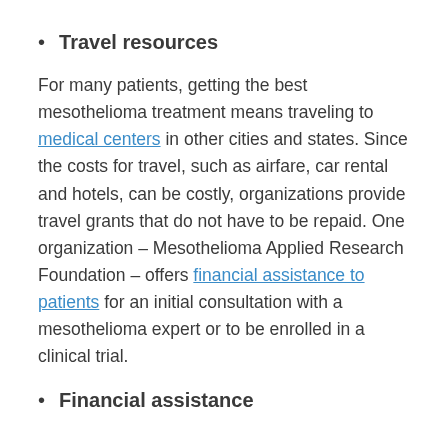Travel resources
For many patients, getting the best mesothelioma treatment means traveling to medical centers in other cities and states. Since the costs for travel, such as airfare, car rental and hotels, can be costly, organizations provide travel grants that do not have to be repaid. One organization – Mesothelioma Applied Research Foundation – offers financial assistance to patients for an initial consultation with a mesothelioma expert or to be enrolled in a clinical trial.
Financial assistance